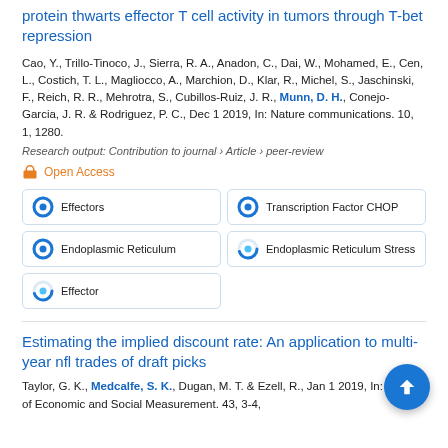protein thwarts effector T cell activity in tumors through T-bet repression
Cao, Y., Trillo-Tinoco, J., Sierra, R. A., Anadon, C., Dai, W., Mohamed, E., Cen, L., Costich, T. L., Magliocco, A., Marchion, D., Klar, R., Michel, S., Jaschinski, F., Reich, R. R., Mehrotra, S., Cubillos-Ruiz, J. R., Munn, D. H., Conejo-Garcia, J. R. & Rodriguez, P. C., Dec 1 2019, In: Nature communications. 10, 1, 1280.
Research output: Contribution to journal › Article › peer-review
Open Access
[Figure (infographic): Five keyword badges arranged in a 2-column grid: Effectors (100%), Transcription Factor CHOP (100%), Endoplasmic Reticulum (100%), Endoplasmic Reticulum Stress (~70%), Effector (~70%). Each badge has a circular percentage donut icon.]
Estimating the implied discount rate: An application to multi-year nfl trades of draft picks
Taylor, G. K., Medcalfe, S. K., Dugan, M. T. & Ezell, R., Jan 1 2019, In: Journal of Economic and Social Measurement. 43, 3-4,